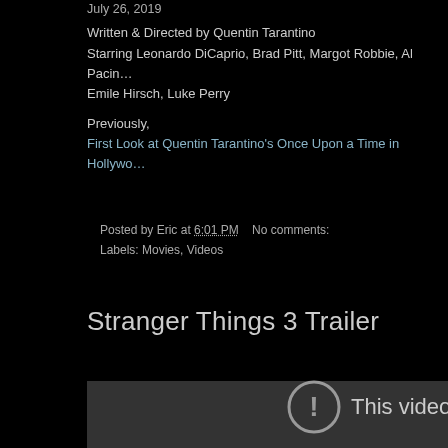July 26, 2019
Written & Directed by Quentin Tarantino
Starring Leonardo DiCaprio, Brad Pitt, Margot Robbie, Al Pacino, Emile Hirsch, Luke Perry
Previously,
First Look at Quentin Tarantino's Once Upon a Time in Hollywood
Posted by Eric at 6:01 PM   No comments:
Labels: Movies, Videos
Stranger Things 3 Trailer
[Figure (screenshot): Embedded video player showing an error: 'This video is pr...' with a circular exclamation mark icon, on a dark grey background]